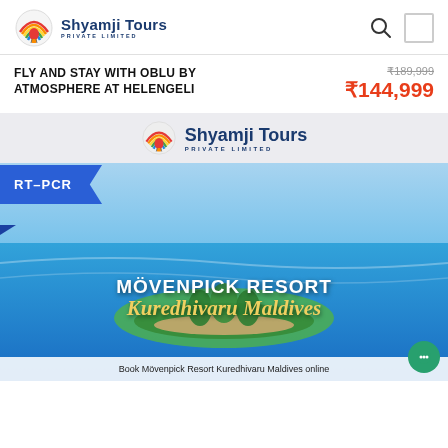[Figure (logo): Shyamji Tours Private Limited logo with rainbow hot air balloon icon]
FLY AND STAY WITH OBLU BY ATMOSPHERE AT HELENGELI
₹189,999 (strikethrough) ₹144,999
[Figure (photo): Promotional banner for Mövenpick Resort Kuredhivaru Maldives with aerial ocean view, RT-PCR badge, and caption 'Book Mövenpick Resort Kuredhivaru Maldives online']